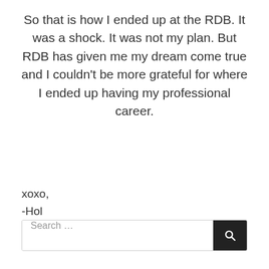So that is how I ended up at the RDB. It was a shock. It was not my plan. But RDB has given me my dream come true and I couldn't be more grateful for where I ended up having my professional career.
xoxo,
-Hol